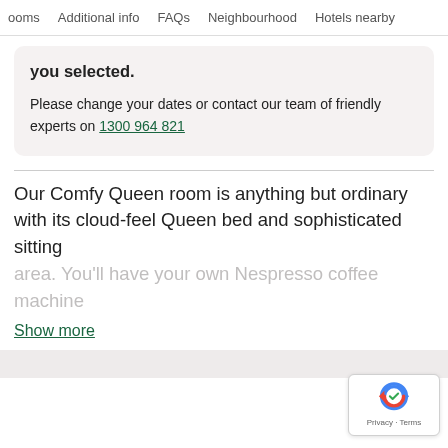Rooms   Additional info   FAQs   Neighbourhood   Hotels nearby
you selected.
Please change your dates or contact our team of friendly experts on 1300 964 821
Our Comfy Queen room is anything but ordinary with its cloud-feel Queen bed and sophisticated sitting area. You'll have your own Nespresso coffee machine
Show more